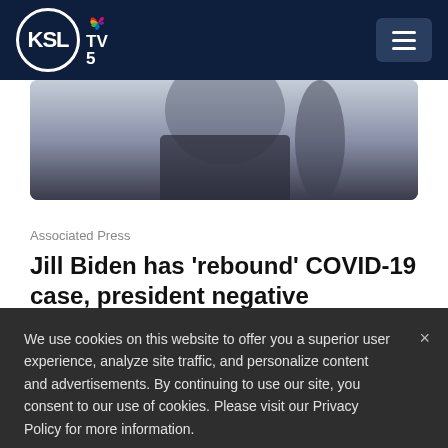KSL TV 5
[Figure (photo): Partially visible photo of a person in dark clothing, blurred/cropped at top]
Associated Press
Jill Biden has ‘rebound’ COVID-19 case, president negative
We use cookies on this website to offer you a superior user experience, analyze site traffic, and personalize content and advertisements. By continuing to use our site, you consent to our use of cookies. Please visit our Privacy Policy for more information.
Accept Cookies